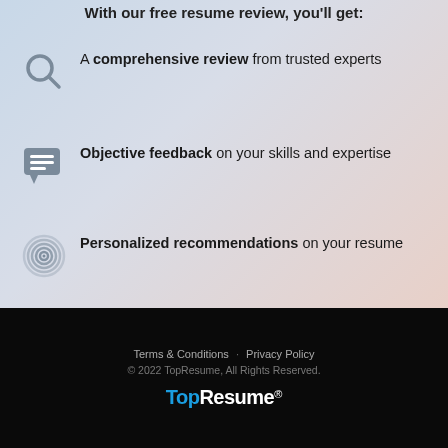With our free resume review, you'll get:
A comprehensive review from trusted experts
Objective feedback on your skills and expertise
Personalized recommendations on your resume
Terms & Conditions   Privacy Policy
© 2022 TopResume, All Rights Reserved.
TopResume®